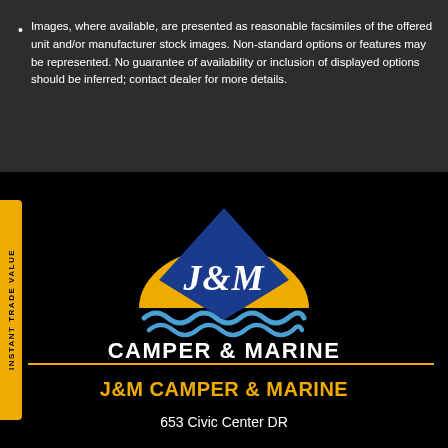Images, where available, are presented as reasonable facsimiles of the offered unit and/or manufacturer stock images. Non-standard options or features may be represented. No guarantee of availability or inclusion of displayed options should be inferred; contact dealer for more details.
[Figure (logo): J&M Camper & Marine logo: blue diamond shape over a yellow semicircle sun, with blue wave decoration, and 'J&M' in white script, 'CAMPER & MARINE' in white bold text below]
J&M CAMPER & MARINE
653 Civic Center DR